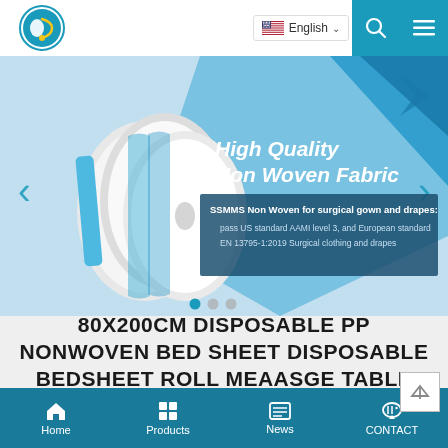[Figure (screenshot): Website navigation bar with logo, English language selector, search icon, and hamburger menu on teal background]
[Figure (photo): Hero banner showing rolls of white non-woven fabric with blue geometric design background. Text reads 'High Quality Non Woven Fabric' and 'SSMMS Non Woven for surgical gown and drapes: pass US standard AAMI level 3, and European standard EN 13795-1:2019 Surgical clothing and drapes']
80X200CM DISPOSABLE PP NONWOVEN BED SHEET DISPOSABLE BEDSHEET ROLL MEAASGE TABLE SHEET COVER
[Figure (screenshot): Bottom navigation bar with Home, Products, News, CONTACT icons on teal background]